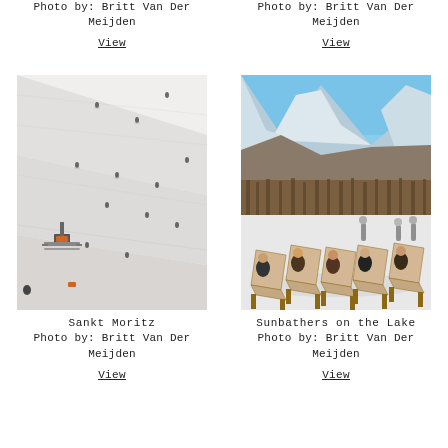Photo by: Britt Van Der Meijden
View
Photo by: Britt Van Der Meijden
View
[Figure (photo): Aerial view of ski slope with skiers and ski lift machinery, Sankt Moritz]
Sankt Moritz
Photo by: Britt Van Der Meijden
View
[Figure (photo): People sitting in deck chairs on snowy lakeside with snow-covered mountains and forest in background, Sunbathers on the Lake]
Sunbathers on the Lake
Photo by: Britt Van Der Meijden
View